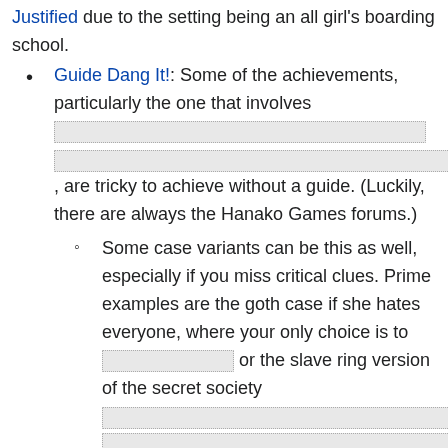Justified due to the setting being an all girl's boarding school.
Guide Dang It!: Some of the achievements, particularly the one that involves [redacted], are tricky to achieve without a guide. (Luckily, there are always the Hanako Games forums.)
Some case variants can be this as well, especially if you miss critical clues. Prime examples are the goth case if she hates everyone, where your only choice is to [redacted] or the slave ring version of the secret society [redacted][redacted][redacted]
Have I Mentioned I Am Heterosexual Today?: Mallory, having come from a traditional public school, is initially a bit freaked out by what she sees as the constant [icon] Les Yay at St. Claudine's. While further conversation reveals it...